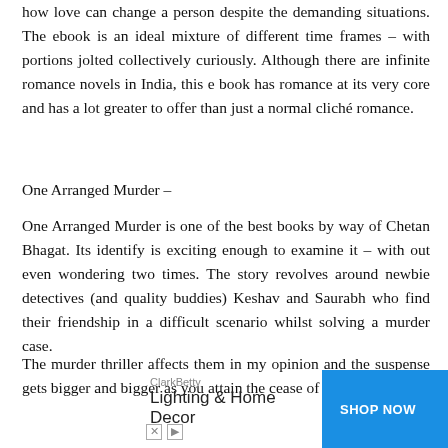how love can change a person despite the demanding situations. The ebook is an ideal mixture of different time frames – with portions jolted collectively curiously. Although there are infinite romance novels in India, this e book has romance at its very core and has a lot greater to offer than just a normal cliché romance.
One Arranged Murder –
One Arranged Murder is one of the best books by way of Chetan Bhagat. Its identify is exciting enough to examine it – with out even wondering two times. The story revolves around newbie detectives (and quality buddies) Keshav and Saurabh who find their friendship in a difficult scenario whilst solving a murder case.
The murder thriller affects them in my opinion and the suspense gets bigger and bigger as you attain the cease of the
[Figure (other): Advertisement banner for ClarkBetty Lighting & Home Decor with a blue SHOP NOW button]